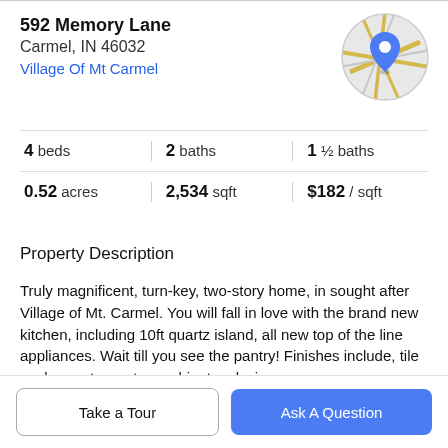592 Memory Lane
Carmel, IN 46032
Village Of Mt Carmel
[Figure (map): Circular map thumbnail with street lines and a blue location pin marker in the center]
4 beds   2 baths   1 ½ baths
0.52 acres   2,534 sqft   $182 / sqft
Property Description
Truly magnificent, turn-key, two-story home, in sought after Village of Mt. Carmel. You will fall in love with the brand new kitchen, including 10ft quartz island, all new top of the line appliances. Wait till you see the pantry! Finishes include, tile work, quartz, custom cabinetry, designer
Take a Tour
Ask A Question